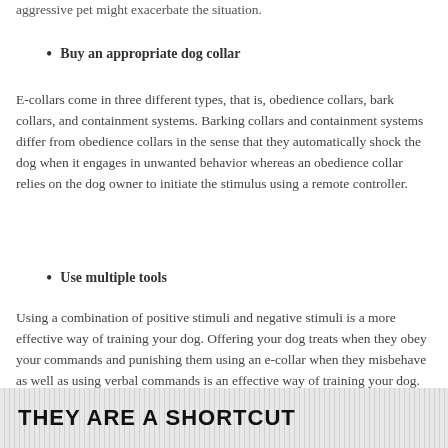aggressive pet might exacerbate the situation.
Buy an appropriate dog collar
E-collars come in three different types, that is, obedience collars, bark collars, and containment systems. Barking collars and containment systems differ from obedience collars in the sense that they automatically shock the dog when it engages in unwanted behavior whereas an obedience collar relies on the dog owner to initiate the stimulus using a remote controller.
Use multiple tools
Using a combination of positive stimuli and negative stimuli is a more effective way of training your dog. Offering your dog treats when they obey your commands and punishing them using an e-collar when they misbehave as well as using verbal commands is an effective way of training your dog.
THEY ARE A SHORTCUT